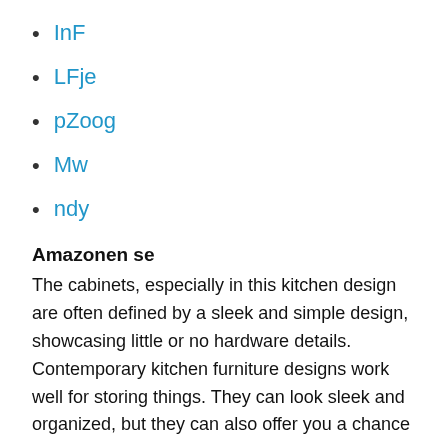InF
LFje
pZoog
Mw
ndy
Amazonen se
The cabinets, especially in this kitchen design are often defined by a sleek and simple design, showcasing little or no hardware details. Contemporary kitchen furniture designs work well for storing things. They can look sleek and organized, but they can also offer you a chance to create beautiful displays as you go to. This k